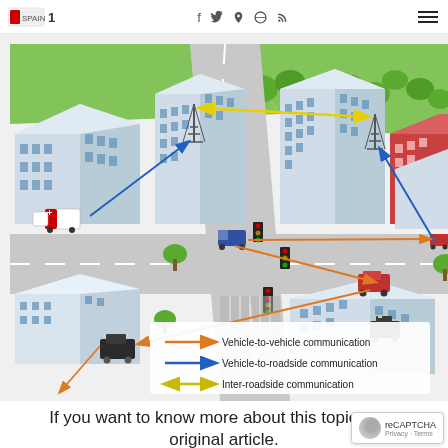Logo | Social icons: f, twitter, pinterest, dribbble, rss | Hamburger menu
[Figure (infographic): Isometric city diagram showing vehicle-to-vehicle communication (orange arrows), vehicle-to-roadside communication (blue arrows), and inter-roadside communication (yellow arrows) among cars, buildings, and communication towers in an urban environment. Legend at bottom shows three communication types with colored arrows.]
If you want to know more about this topic, se... original article.